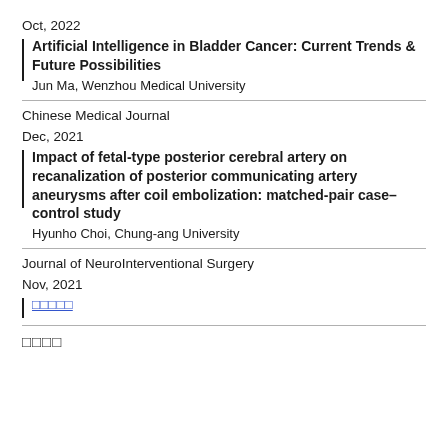Oct, 2022
Artificial Intelligence in Bladder Cancer: Current Trends & Future Possibilities
Jun Ma, Wenzhou Medical University
Chinese Medical Journal
Dec, 2021
Impact of fetal-type posterior cerebral artery on recanalization of posterior communicating artery aneurysms after coil embolization: matched-pair case–control study
Hyunho Choi, Chung-ang University
Journal of NeuroInterventional Surgery
Nov, 2021
□□□□□
□□□□